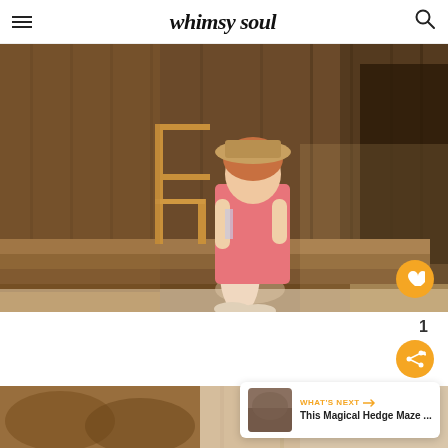whimsy soul
[Figure (photo): Woman in pink dress and tan hat sitting on wooden steps of a rustic barn building, holding a wine glass, with a wooden chair visible in background]
1
[Figure (photo): Partial view of wine barrels or cellar interior, blurred/out of focus]
WHAT'S NEXT → This Magical Hedge Maze ...